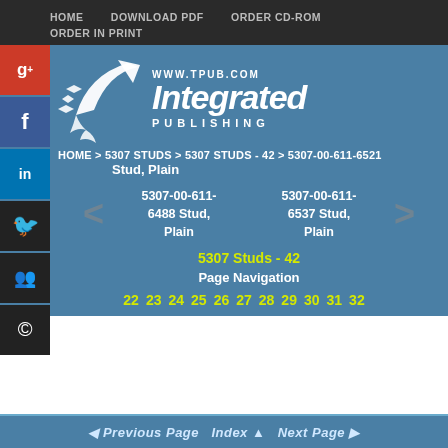HOME   DOWNLOAD PDF   ORDER CD-ROM   ORDER IN PRINT
[Figure (logo): Integrated Publishing logo with bird/arrow graphic and www.tpub.com URL]
HOME > 5307 STUDS > 5307 STUDS - 42 > 5307-00-611-6521
Stud, Plain
5307-00-611-6488 Stud, Plain
5307-00-611-6537 Stud, Plain
5307 Studs - 42
Page Navigation
22 23 24 25 26 27 28 29 30 31 32
Previous Page   Index   Next Page